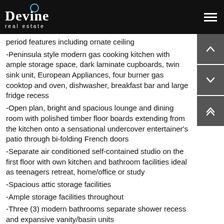Devine real estate
period features including ornate ceiling
-Peninsula style modern gas cooking kitchen with ample storage space, dark laminate cupboards, twin sink unit, European Appliances, four burner gas cooktop and oven, dishwasher, breakfast bar and large fridge recess
-Open plan, bright and spacious lounge and dining room with polished timber floor boards extending from the kitchen onto a sensational undercover entertainer's patio through bi-folding French doors
-Separate air conditioned self-contained studio on the first floor with own kitchen and bathroom facilities ideal as teenagers retreat, home/office or study
-Spacious attic storage facilities
-Ample storage facilities throughout
-Three (3) modern bathrooms separate shower recess and expansive vanity/basin units
-Internal laundry facilities
-Ceiling fans throughout